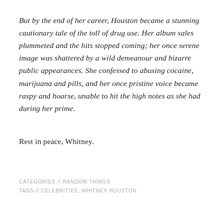But by the end of her career, Houston became a stunning cautionary tale of the toll of drug use. Her album sales plummeted and the hits stopped coming; her once serene image was shattered by a wild demeanour and bizarre public appearances. She confessed to abusing cocaine, marijuana and pills, and her once pristine voice became raspy and hoarse, unable to hit the high notes as she had during her prime.
Rest in peace, Whitney.
CATEGORIES // RANDOM THINGS
TAGS // CELEBRITIES, WHITNEY HOUSTON